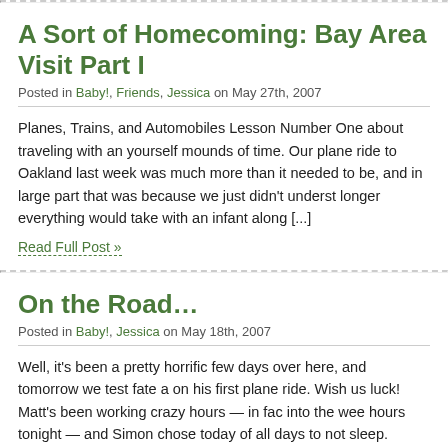A Sort of Homecoming: Bay Area Visit Part I
Posted in Baby!, Friends, Jessica on May 27th, 2007
Planes, Trains, and Automobiles Lesson Number One about traveling with an yourself mounds of time. Our plane ride to Oakland last week was much more than it needed to be, and in large part that was because we just didn't underst longer everything would take with an infant along [...]
Read Full Post »
On the Road…
Posted in Baby!, Jessica on May 18th, 2007
Well, it's been a pretty horrific few days over here, and tomorrow we test fate a on his first plane ride. Wish us luck! Matt's been working crazy hours — in fac into the wee hours tonight — and Simon chose today of all days to not sleep.
Read Full Post »